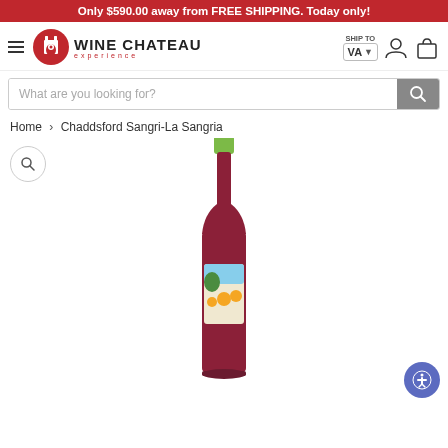Only $590.00 away from FREE SHIPPING. Today only!
[Figure (logo): Wine Chateau experience logo with red circular castle icon and brand name]
SHIP TO VA
What are you looking for?
Home › Chaddsford Sangri-La Sangria
[Figure (photo): Bottle of Chaddsford Sangri-La Sangria wine with a green cap and colorful label featuring citrus fruits and tropical scenery]